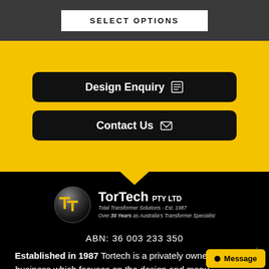SELECT OPTIONS
Design Enquiry
Contact Us
[Figure (logo): TorTech PTY LTD logo with TT monogram on dark sphere, tagline: Total Transformer Solutions - Est. 1987, Over 30 Years as Australia's Transformer Specialist]
ABN: 36 003 233 350
Established in 1987 Tortech is a privately owned Australian business which focuses on the design and manu... a whole range of transformers.
Message